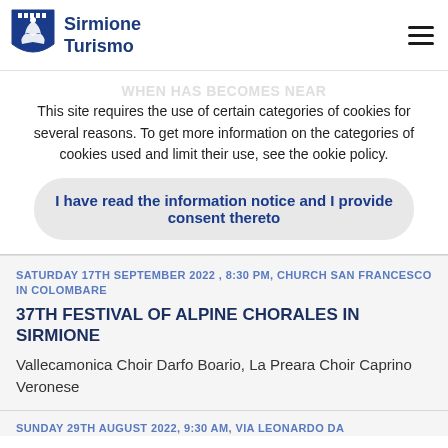Sirmione Turismo
This site requires the use of certain categories of cookies for several reasons. To get more information on the categories of cookies used and limit their use, see the ookie policy.
I have read the information notice and I provide consent thereto
SATURDAY 17TH SEPTEMBER 2022 , 8:30 PM, CHURCH SAN FRANCESCO IN COLOMBARE
37TH FESTIVAL OF ALPINE CHORALES IN SIRMIONE
Vallecamonica Choir Darfo Boario, La Preara Choir Caprino Veronese
SUNDAY 29TH AUGUST 2022, 9:30 AM, VIA LEONARDO DA